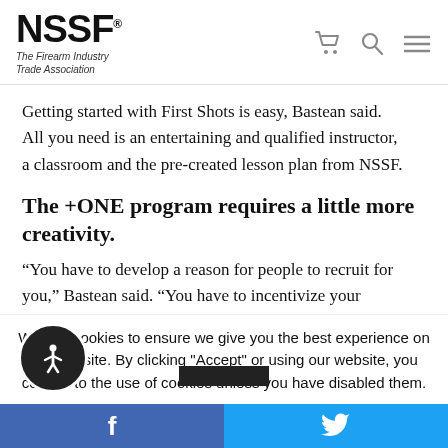NSSF® The Firearm Industry Trade Association
Getting started with First Shots is easy, Bastean said. All you need is an entertaining and qualified instructor, a classroom and the pre-created lesson plan from NSSF.
The +ONE program requires a little more creativity.
“You have to develop a reason for people to recruit for you,” Bastean said. “You have to incentivize your
We use cookies to ensure we give you the best experience on our website. By clicking "Accept" or using our website, you consent to the use of cookies unless you have disabled them.